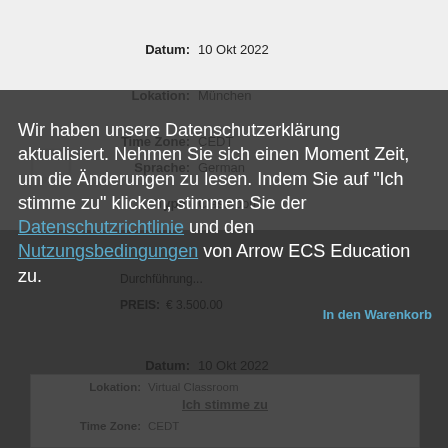Datum: 10 Okt 2022
Lokation: München
Time Zone: CEDT
Sprache: German
Type: Classroom
Durchführung...
PREIS: € 3.500.00
In den Warenkorb
Wir haben unsere Datenschutzerklärung aktualisiert. Nehmen Sie sich einen Moment Zeit, um die Änderungen zu lesen. Indem Sie auf "Ich stimme zu" klicken, stimmen Sie der Datenschutzrichtlinie und den Nutzungsbedingungen von Arrow ECS Education zu.
Datum: 10 Okt 2022
Lokation: Virtual Classroom
Time Zone: CEDT
Ich stimme zu